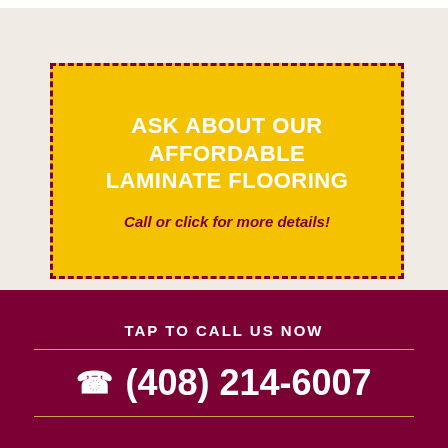ASK ABOUT OUR AFFORDABLE LAMINATE FLOORING
Call or click for more details!
DAILY DEALS ON TOP NOTCH BRANDS
Call or click for more details!
TAP TO CALL US NOW
(408) 214-6007